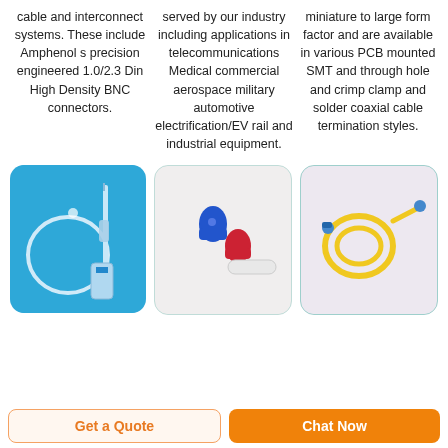cable and interconnect systems. These include Amphenols precision engineered 1.0/2.3 Din High Density BNC connectors.
served by our industry including applications in telecommunications Medical commercial aerospace military automotive electrification/EV rail and industrial equipment.
miniature to large form factor and are available in various PCB mounted SMT and through hole and crimp clamp and solder coaxial cable termination styles.
[Figure (photo): Medical IV drip set with tubing and syringe on blue background]
[Figure (photo): Medical connectors - blue and red caps with tubing on light gray background]
[Figure (photo): Yellow medical tubing/catheter coiled on light purple background]